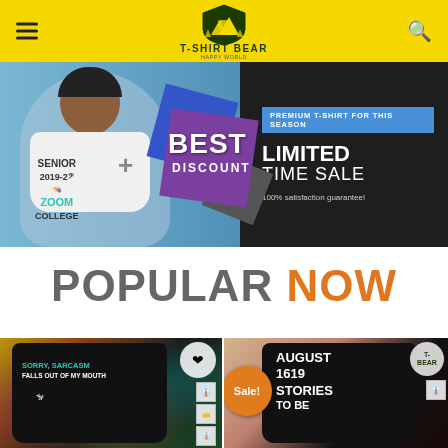T-SHIRT BEAR
[Figure (photo): Promotional banner for T-Shirt Bear store showing a man wearing a Senior 2019-2020 Zoom College t-shirt, geometric shapes with BEST DISCOUNT text, and LIMITED TIME SALE 100% satisfaction guarantee text on dark background]
POPULAR NOW
[Figure (photo): Black t-shirt with Sorry, Sarcasm Falls Out Of My Mouth text and cow wearing glasses design on colorful background]
[Figure (photo): Black t-shirt with AUGUST 1619 STORIES TO BE text on pink/Christmas background, with Sale! badge]